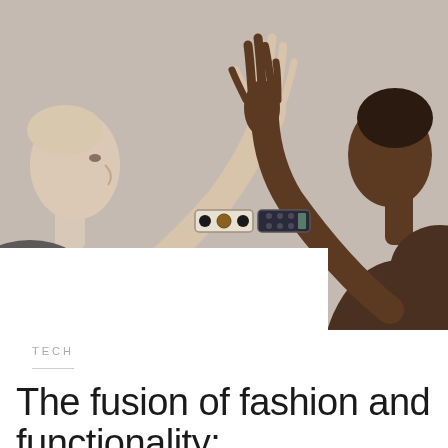[Figure (photo): Two models facing each other with clasped hands raised between them, each wearing a decorative smart bracelet/wearable tech jewelry on their wrists. Left model has fair skin, right model has dark skin. Neutral beige/grey background.]
TECH
The fusion of fashion and functionality: